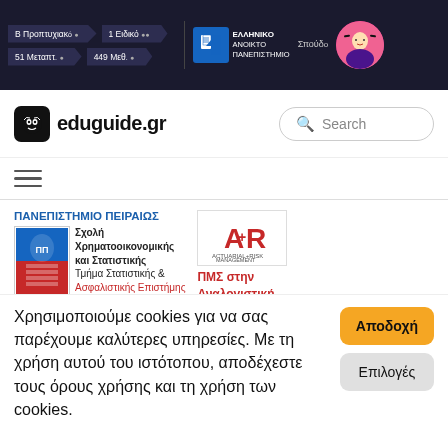[Figure (screenshot): Top dark navigation banner with Greek text links: Β Προπτυχιακό, 1 Ειδικό, 51 Μεταπτ., 449 Μεθ. and Ελληνικό Ανοικτό Πανεπιστήμιο logo with Σπούδo text and girl photo]
[Figure (logo): eduguide.gr website logo with owl icon and search bar]
[Figure (infographic): Hamburger menu icon (three horizontal lines)]
[Figure (logo): Πανεπιστήμιο Πειραιώς logo with Σχολή Χρηματοοικονομικής και Στατιστικής, Τμήμα Στατιστικής & Ασφαλιστικής Επιστήμης text]
[Figure (logo): Actuarial+Risk Management logo with AR letters in red]
Χρησιμοποιούμε cookies για να σας παρέχουμε καλύτερες υπηρεσίες. Με τη χρήση αυτού του ιστότοπου, αποδέχεστε τους όρους χρήσης και τη χρήση των cookies.
Αποδοχή
Επιλογές